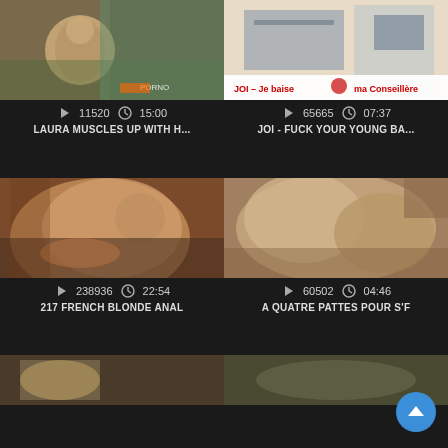[Figure (screenshot): Video thumbnail grid showing 6 video cards with thumbnails, view counts, durations, and titles on a dark background]
11520  15:00
LAURA MUSCLES UP WITH H...
65665  07:37
JOI - FUCK YOUR YOUNG BA...
238936  22:54
217 FRENCH BLONDE ANAL
60502  04:46
A QUATRE PATTES POUR S'F